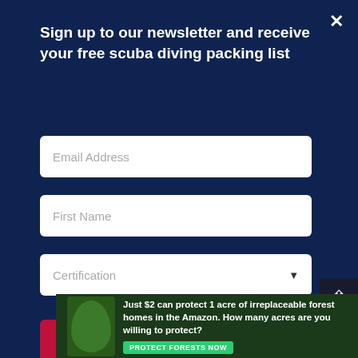Sign up to our newsletter and receive your free scuba diving packing list
Email Address
First Name
Certification
Sign up
Get To The Best Diving Egypt
02/08/2022
Hi Alessandro, firstly, thank you so much for your comment and positive feedback, very much appreciated. I would say ve
Just $2 can protect 1 acre of irreplaceable forest homes in the Amazon. How many acres are you willing to protect?
PROTECT FORESTS NOW